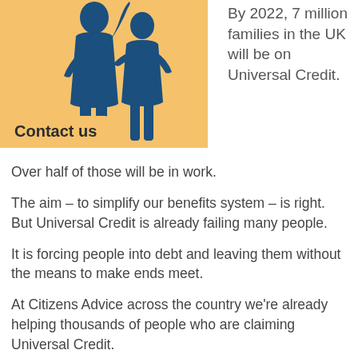[Figure (illustration): Silhouette illustration of two adult figures on an orange/amber background — one taller figure with arm raised, one slightly shorter, both in dark blue.]
Contact us
By 2022, 7 million families in the UK will be on Universal Credit. Over half of those will be in work.
The aim – to simplify our benefits system – is right. But Universal Credit is already failing many people.
It is forcing people into debt and leaving them without the means to make ends meet.
At Citizens Advice across the country we're already helping thousands of people who are claiming Universal Credit.